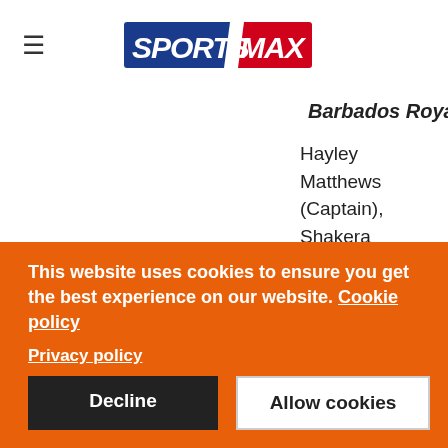[Figure (logo): SportsMax logo — blue rectangle with SPORTS in white italic bold, red rectangle with MAX in white italic bold]
Barbados Royals
Hayley Matthews (Captain), Shakera Selman (Vice Captain), Fatima Sana (Pakistan), Chloe Tryon (South Africa), Snighda Paul (USA),
This website uses cookies to ensure you get the best experience on our website. Cookie policy
Privacy policy
Decline
Allow cookies